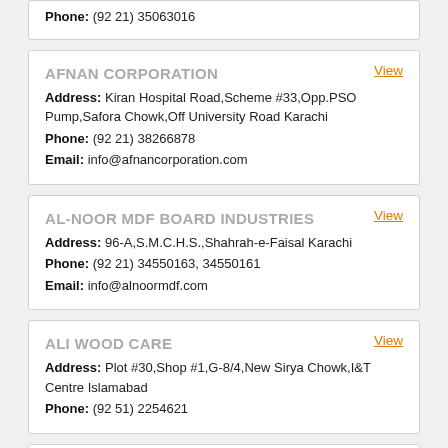Phone: (92 21) 35063016
AFNAN CORPORATION
Address: Kiran Hospital Road,Scheme #33,Opp.PSO Pump,Safora Chowk,Off University Road Karachi
Phone: (92 21) 38266878
Email: info@afnancorporation.com
AL-NOOR MDF BOARD INDUSTRIES
Address: 96-A,S.M.C.H.S.,Shahrah-e-Faisal Karachi
Phone: (92 21) 34550163, 34550161
Email: info@alnoormdf.com
ALI WOOD CARE
Address: Plot #30,Shop #1,G-8/4,New Sirya Chowk,I&T Centre Islamabad
Phone: (92 51) 2254621